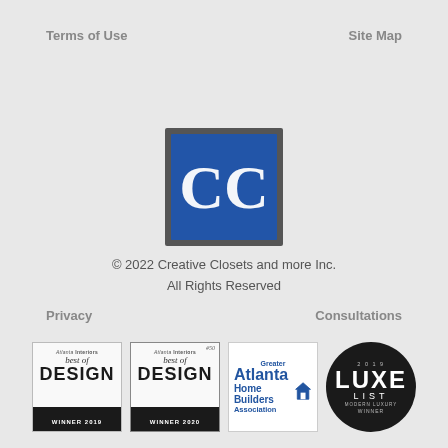Terms of Use
Site Map
[Figure (logo): Creative Closets CC logo — blue square with white CC monogram inside a dark grey border]
© 2022 Creative Closets and more Inc.
All Rights Reserved
Privacy
Consultations
[Figure (logo): Atlanta Interiors Best of Design Winner 2019 badge — white box with serif script 'best of' and bold 'DESIGN', black footer bar 'WINNER 2019']
[Figure (logo): Atlanta Interiors Best of Design Winner 2020 badge — white box with #50 tag, serif script 'best of' and bold 'DESIGN', black footer bar 'WINNER 2020']
[Figure (logo): Greater Atlanta Home Builders Association logo — white box with blue text and house icon]
[Figure (logo): LUXE List Modern Luxury 2019 Winner badge — black circle with white LUXE LIST text]